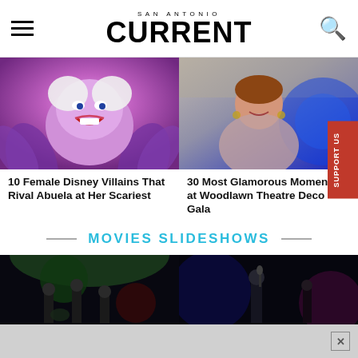SAN ANTONIO CURRENT
[Figure (photo): Ursula character from The Little Mermaid, purple villain with white hair, animated style]
10 Female Disney Villains That Rival Abuela at Her Scariest
[Figure (photo): Woman smiling at Woodlawn Theatre Deco Gala event with blue lighting in background]
30 Most Glamorous Moments at Woodlawn Theatre Deco Gala
MOVIES SLIDESHOWS
[Figure (photo): Dark concert/band photo with green and red stage lighting]
[Figure (photo): Dark performance photo with person holding microphone, blue and magenta lighting]